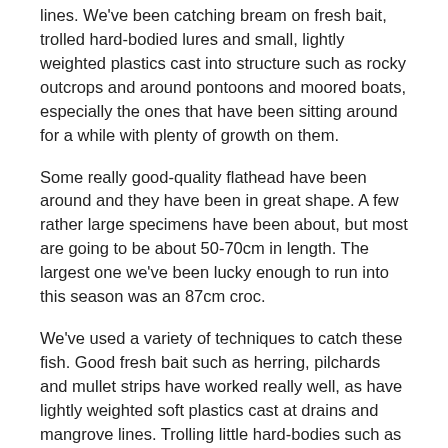lines. We've been catching bream on fresh bait, trolled hard-bodied lures and small, lightly weighted plastics cast into structure such as rocky outcrops and around pontoons and moored boats, especially the ones that have been sitting around for a while with plenty of growth on them.
Some really good-quality flathead have been around and they have been in great shape. A few rather large specimens have been about, but most are going to be about 50-70cm in length. The largest one we've been lucky enough to run into this season was an 87cm croc.
We've used a variety of techniques to catch these fish. Good fresh bait such as herring, pilchards and mullet strips have worked really well, as have lightly weighted soft plastics cast at drains and mangrove lines. Trolling little hard-bodies such as Zerek Tango Shads in 1-1.5m of water has enticed plenty of flathead.
One of the standouts techniques is casting Zerek Fish Traps and gently working them across the bottom. These little lures emit plenty of vibration, and a technique involving small lifts producing plenty of vibration and then dropping the lure back to the bottom accounted